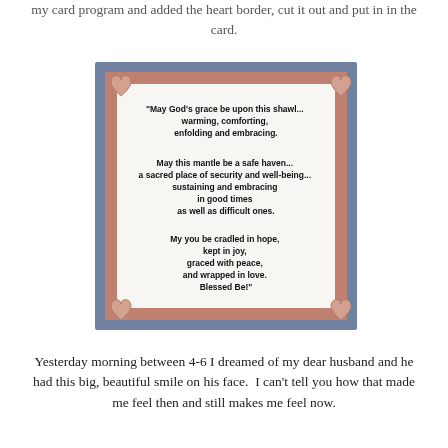my card program and added the heart border, cut it out and put in in the card.
[Figure (illustration): A decorative prayer card with a blue and rose/salmon colored border, pink hearts at each corner, and a printed prayer/blessing text inside on a white background. The text reads: 'May God's grace be upon this shawl... warming, comforting, enfolding and embracing. May this mantle be a safe haven... a sacred place of security and well-being... sustaining and embracing in good times as well as difficult ones. My you be cradled in hope, kept in joy, graced with peace, and wrapped in love. Blessed Be!']
Yesterday morning between 4-6 I dreamed of my dear husband and he had this big, beautiful smile on his face. I can't tell you how that made me feel then and still makes me feel now.